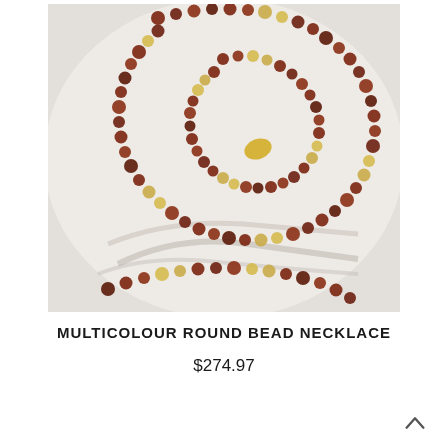[Figure (photo): Close-up photo of a multicolour amber round bead necklace coiled on a white surface, showing dark reddish-brown and yellow/cream coloured beads with shadows visible]
MULTICOLOUR ROUND BEAD NECKLACE
$274.97